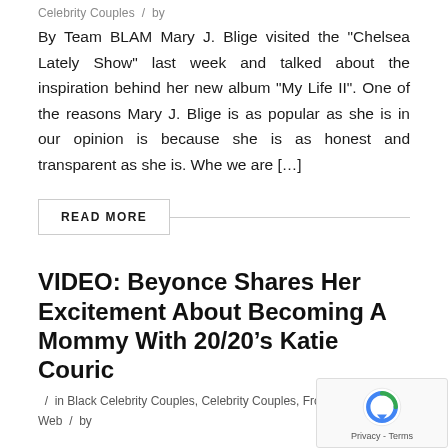Celebrity Couples / by
By Team BLAM Mary J. Blige visited the “Chelsea Lately Show” last week and talked about the inspiration behind her new album “My Life II”. One of the reasons Mary J. Blige is as popular as she is in our opinion is because she is as honest and transparent as she is. Whe we are […]
READ MORE
VIDEO: Beyonce Shares Her Excitement About Becoming A Mommy With 20/20’s Katie Couric
/ in Black Celebrity Couples, Celebrity Couples, From Across The Web / by
By Team BLAM Beyonce was interviewed on Fri by 20/20’s Katie Couric and she was full of